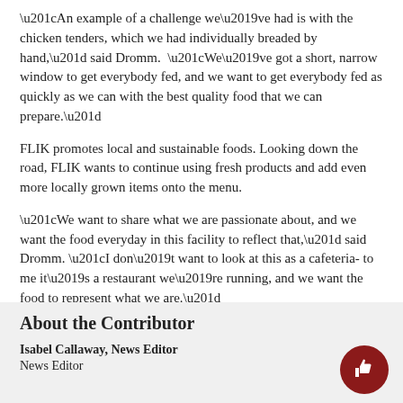“An example of a challenge we’ve had is with the chicken tenders, which we had individually breaded by hand,” said Dromm.  “We’ve got a short, narrow window to get everybody fed, and we want to get everybody fed as quickly as we can with the best quality food that we can prepare.”
FLIK promotes local and sustainable foods. Looking down the road, FLIK wants to continue using fresh products and add even more locally grown items onto the menu.
“We want to share what we are passionate about, and we want the food everyday in this facility to reflect that,” said Dromm. “I don’t want to look at this as a cafeteria- to me it’s a restaurant we’re running, and we want the food to represent what we are.”
About the Contributor
Isabel Callaway, News Editor
News Editor